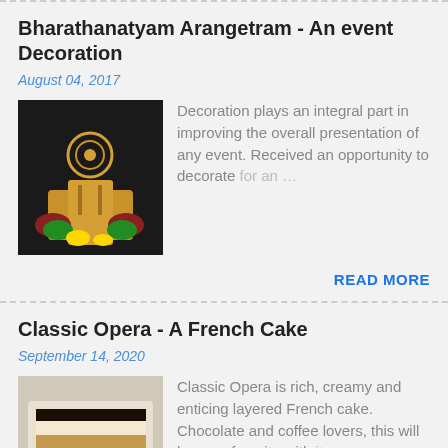Bharathanatyam Arangetram - An event Decoration
August 04, 2017
[Figure (photo): A decorated stage setup for a Bharathanatyam Arangetram event with ornate golden artifacts and flowers on a dark background.]
Decoration plays an integral part in improving the overall presentation of any event. Received an opportunity to decorate for an …
READ MORE
Classic Opera - A French Cake
September 14, 2020
[Figure (photo): A slice of Classic Opera French cake with chocolate ganache topping and layered sponge and cream, served on a white plate.]
Classic Opera is rich, creamy and enticing layered French cake. Chocolate and coffee lovers, this will be your favorite with its …